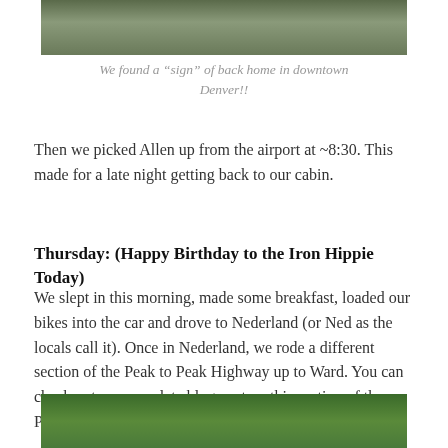[Figure (photo): Top portion of a photo showing feet/sandals on pavement, cropped at top of page]
We found a “sign” of back home in downtown Denver!!
Then we picked Allen up from the airport at ~8:30. This made for a late night getting back to our cabin.
Thursday: (Happy Birthday to the Iron Hippie Today)
We slept in this morning, made some breakfast, loaded our bikes into the car and drove to Nederland (or Ned as the locals call it). Once in Nederland, we rode a different section of the Peak to Peak Highway up to Ward. You can check out my complete blog post on this section of the Peak to Peak Highway here.
[Figure (photo): Bottom portion of a photo showing green trees/forest, cropped at bottom of page]